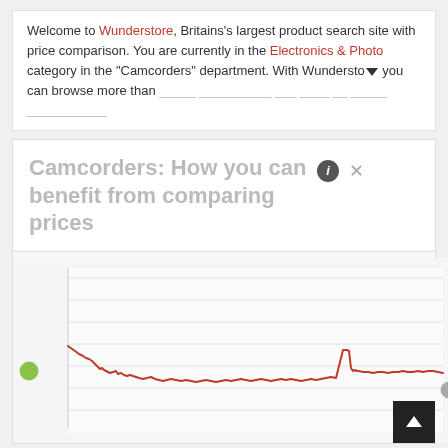Welcome to Wunderstore, Britains's largest product search site with price comparison. You are currently in the Electronics & Photo category in the "Camcorders" department. With Wunderstore you can browse more than ...
Camcorders: How you can benefit from comparing prices
[Figure (continuous-plot): A line chart showing price history for camcorders over time. The red line starts high on the left with a green/grey circle marker, trends downward with fluctuations, has a spike upward in the right portion, then levels off at a lower price toward the right end which has a grey circle marker. The chart has horizontal gridlines on a light grey background.]